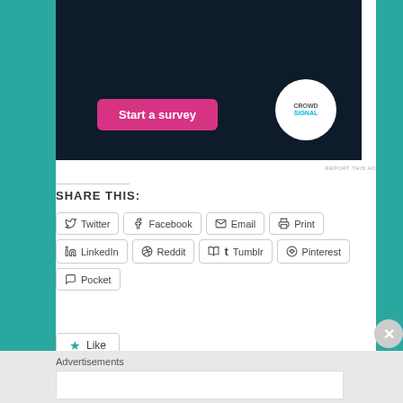[Figure (screenshot): CrowdSignal ad banner with dark navy background, pink 'Start a survey' button, and white circular CrowdSignal logo]
REPORT THIS AD
SHARE THIS:
Twitter  Facebook  Email  Print  LinkedIn  Reddit  Tumblr  Pinterest  Pocket
Like
Be the first to like this.
Advertisements